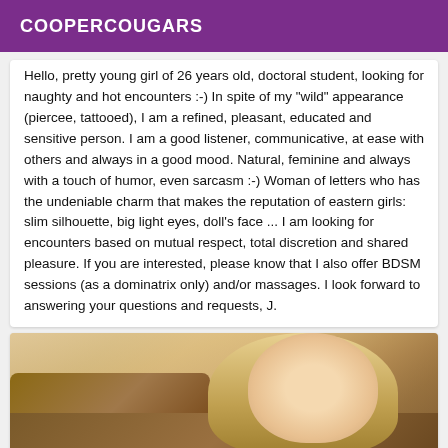COOPERCOUGARS
Hello, pretty young girl of 26 years old, doctoral student, looking for naughty and hot encounters :-) In spite of my "wild" appearance (piercee, tattooed), I am a refined, pleasant, educated and sensitive person. I am a good listener, communicative, at ease with others and always in a good mood. Natural, feminine and always with a touch of humor, even sarcasm :-) Woman of letters who has the undeniable charm that makes the reputation of eastern girls: slim silhouette, big light eyes, doll's face ... I am looking for encounters based on mutual respect, total discretion and shared pleasure. If you are interested, please know that I also offer BDSM sessions (as a dominatrix only) and/or massages. I look forward to answering your questions and requests, J.
[Figure (photo): Photo of a blonde woman smiling, cropped at top of page, warm tones with wooden background]